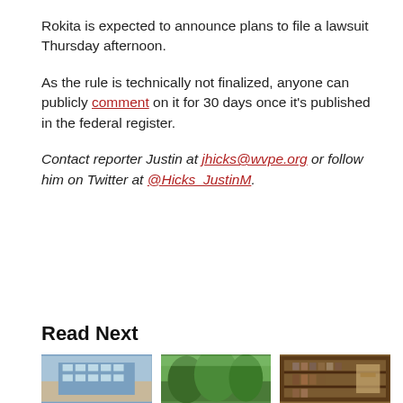Rokita is expected to announce plans to file a lawsuit Thursday afternoon.
As the rule is technically not finalized, anyone can publicly comment on it for 30 days once it's published in the federal register.
Contact reporter Justin at jhicks@wvpe.org or follow him on Twitter at @Hicks_JustinM.
Read Next
[Figure (photo): Thumbnail image of a modern office building with glass facade against blue sky]
[Figure (photo): Thumbnail image of a green forested hillside with trees]
[Figure (photo): Thumbnail image of wooden shelves with bottles/jars inside what appears to be a shop or library]